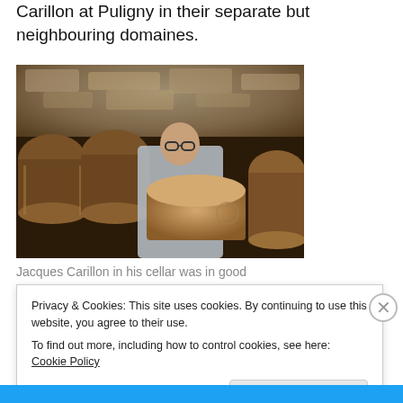Carillon at Puligny in their separate but neighbouring domaines.
[Figure (photo): Jacques Carillon standing in his wine cellar, leaning on a wooden barrel, with stone walls and rows of barrels visible behind him.]
Jacques Carillon in his cellar was in good
Privacy & Cookies: This site uses cookies. By continuing to use this website, you agree to their use.
To find out more, including how to control cookies, see here: Cookie Policy
Close and accept